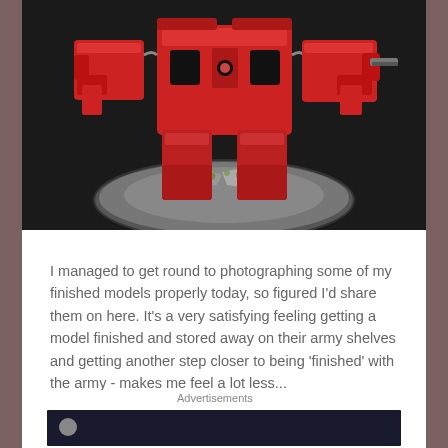[Figure (photo): A painted red miniature mech/robot model (likely Warhammer 40k) on a detailed grey rubble scenic base, photographed against a dark textured background.]
I managed to get round to photographing some of my finished models properly today, so figured I'd share them on here. It's a very satisfying feeling getting a model finished and stored away on their army shelves and getting another step closer to being 'finished' with the army - makes me feel a lot less...
Continue Reading →
Advertisements